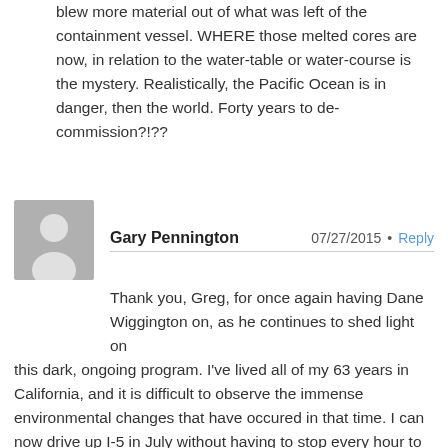blew more material out of what was left of the containment vessel. WHERE those melted cores are now, in relation to the water-table or water-course is the mystery. Realistically, the Pacific Ocean is in danger, then the world. Forty years to de-commission?!??
Gary Pennington  07/27/2015  •  Reply
Thank you, Greg, for once again having Dane Wiggington on, as he continues to shed light on this dark, ongoing program. I've lived all of my 63 years in California, and it is difficult to observe the immense environmental changes that have occured in that time. I can now drive up I-5 in July without having to stop every hour to wash the bug splatters off of my windshield. The sky is always a hazy, unnatural grayish blue, though CA has the toughest clean air standards in the US. Hiking for hours through forest trails without the constant chatter of birds. So many are disconnected from the natural world, perhaps they don't notice. Dane is doing everything he can to sound the alarm, and you deserve much